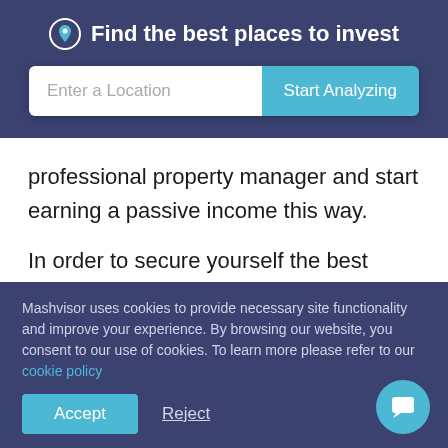Find the best places to invest
[Figure (screenshot): Search bar with 'Enter a Location' placeholder and 'Start Analyzing' button]
professional property manager and start earning a passive income this way.
In order to secure yourself the best possible deal when investing in real estate, the go-to practice should be to locate the most lucrative locations for the matter. If you're wondering what's the best place to buy rental property, we
Mashvisor uses cookies to provide necessary site functionality and improve your experience. By browsing our website, you consent to our use of cookies. To learn more please refer to our cookie policy
Accept
Reject